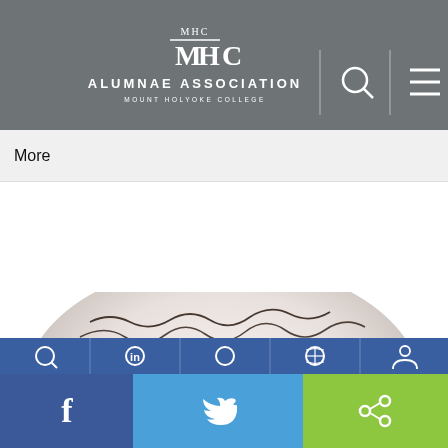[Figure (logo): MHC Alumnae Association Mount Holyoke College logo on gray header bar with search and menu icons]
More
[Figure (photo): Close-up photo of a ceramic or egg-shaped object with dark branch-like and wavy line patterns on a white/cream surface]
[Figure (infographic): Bottom social sharing bar with Facebook, Twitter, and share icons in blue, light blue, and green sections, plus a dark blue icon bar above with 5 circular icons]